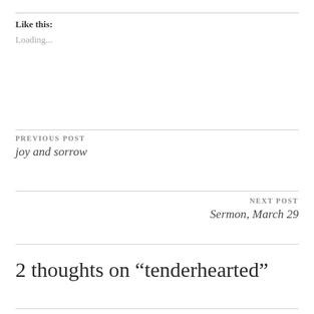Like this:
Loading...
PREVIOUS POST
joy and sorrow
NEXT POST
Sermon, March 29
2 thoughts on “tenderhearted”